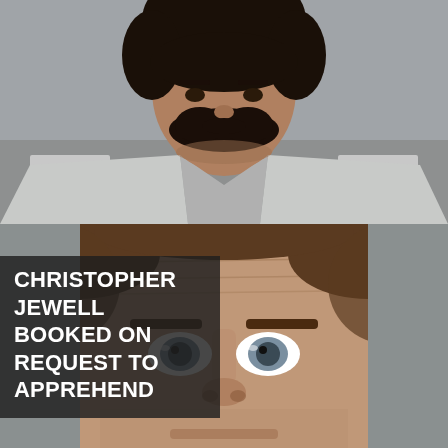[Figure (photo): Mugshot photograph (top): A man with dark curly hair and beard, wearing a grey and white striped jail uniform, photographed from shoulders up against a grey wall background.]
[Figure (photo): Mugshot photograph (bottom): A middle-aged white man with short brown hair, blue-grey eyes, photographed from forehead to chin level against a grey wall background.]
CHRISTOPHER JEWELL BOOKED ON REQUEST TO APPREHEND